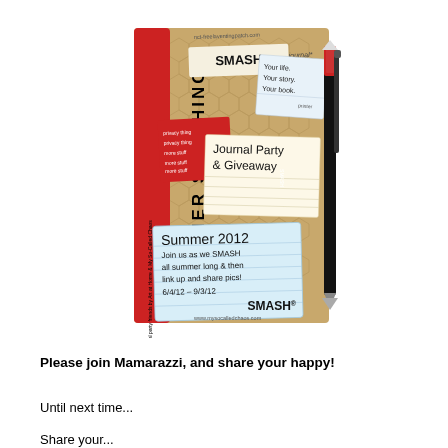[Figure (illustration): Summer Smashbooking promotional image showing a SMASH journal/scrapbook with a red spine, kraft paper cover with hexagon pattern, sticky notes including 'Journal Party & Giveaway' and 'Summer 2012' notes, a SMASH pen clipped to the side, and website URLs at top and bottom]
Please join Mamarazzi, and share your happy!
Until next time...
Share your...